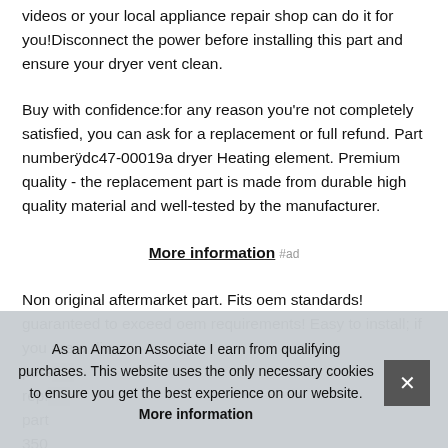videos or your local appliance repair shop can do it for you!Disconnect the power before installing this part and ensure your dryer vent clean.
Buy with confidence:for any reason you're not completely satisfied, you can ask for a replacement or full refund. Part numberÿdc47-00019a dryer Heating element. Premium quality - the replacement part is made from durable high quality material and well-tested by the manufacturer.
More information #ad
Non original aftermarket part. Fits oem standards! guaranteed to exceed oem requirements! Easy to install; if you are a div person, replacement part, part 350 00019A.
As an Amazon Associate I earn from qualifying purchases. This website uses the only necessary cookies to ensure you get the best experience on our website. More information